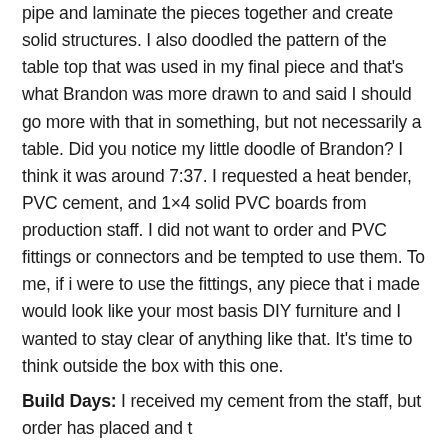pipe and laminate the pieces together and create solid structures. I also doodled the pattern of the table top that was used in my final piece and that's what Brandon was more drawn to and said I should go more with that in something, but not necessarily a table. Did you notice my little doodle of Brandon? I think it was around 7:37. I requested a heat bender, PVC cement, and 1×4 solid PVC boards from production staff. I did not want to order and PVC fittings or connectors and be tempted to use them. To me, if i were to use the fittings, any piece that i made would look like your most basis DIY furniture and I wanted to stay clear of anything like that. It's time to think outside the box with this one.
Build Days: I received my cement from the staff, but order has placed and t...